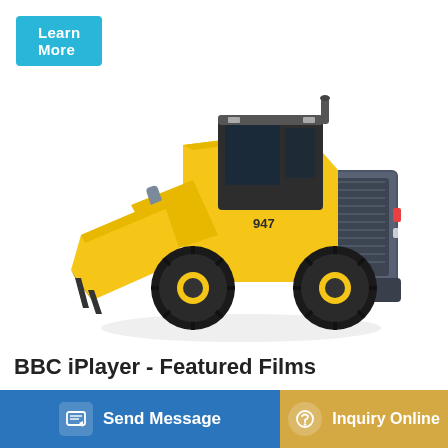[Figure (other): Learn More button — teal/cyan rounded rectangle button with white text]
[Figure (photo): Large yellow front-end wheel loader / construction machine with black tires, yellow bucket on front, label 947 on side, photographed on white background]
BBC iPlayer - Featured Films
108 mins Available until Thu 1:05am. Film - Comedy. The Death of Stalin. The outrageous comedy of terrors. A ... in 19...
[Figure (other): Bottom bar with two buttons: blue 'Send Message' button on left, and golden/amber 'Inquiry Online' button on right]